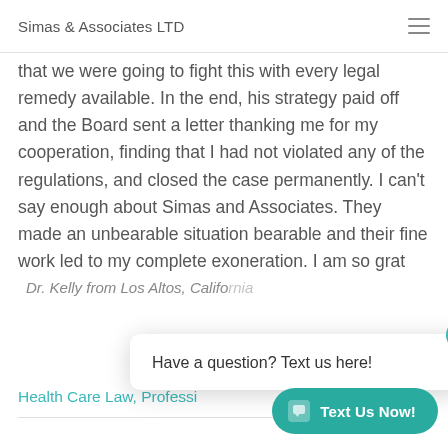Simas & Associates LTD
that we were going to fight this with every legal remedy available. In the end, his strategy paid off and the Board sent a letter thanking me for my cooperation, finding that I had not violated any of the regulations, and closed the case permanently. I can't say enough about Simas and Associates. They made an unbearable situation bearable and their fine work led to my complete exoneration. I am so grat
Dr. Kelly from Los Altos, California
Health Care Law, Professi...
[Figure (screenshot): Chat popup overlay with 'Have a question? Text us here!' message and a 'Text Us Now!' button in teal]